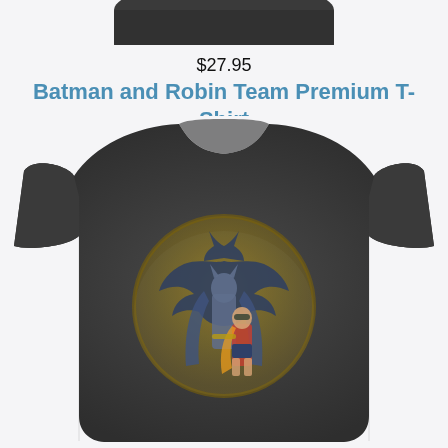[Figure (photo): Top partial view of a dark charcoal grey t-shirt (folded/cropped at top of page)]
$27.95
Batman and Robin Team Premium T-Shirt
[Figure (photo): Dark charcoal heather grey t-shirt featuring a vintage-style graphic print of Batman and Robin standing in front of the Batman signal logo (bat wings in a circle). The graphic has a distressed, worn look with muted gold, blue, and grey tones.]